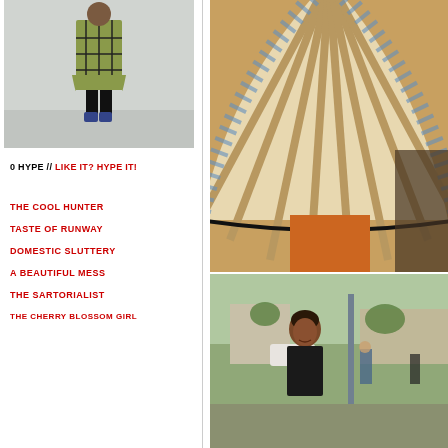[Figure (photo): Woman in green grid-patterned dress with black tights and blue boots, street style photo]
0 HYPE // LIKE IT? HYPE IT!
THE COOL HUNTER
TASTE OF RUNWAY
DOMESTIC SLUTTERY
A BEAUTIFUL MESS
THE SARTORIALIST
THE CHERRY BLOSSOM GIRL
[Figure (photo): Close-up of floral pleated skirt with striped fabric, runway or street style fashion]
[Figure (photo): Woman with dark hair in black sleeveless top, street style photo in city setting]